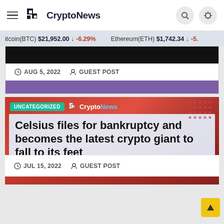CryptoNews
itcoin(BTC) $21,952.00 ↓ -6.29%  Ethereum(ETH) $1,742.34 ↓ -5.
AUG 5, 2022   GUEST POST
UNCATEGORIZED
Celsius files for bankruptcy and becomes the latest crypto giant to fall to its feet
JUL 15, 2022   GUEST POST